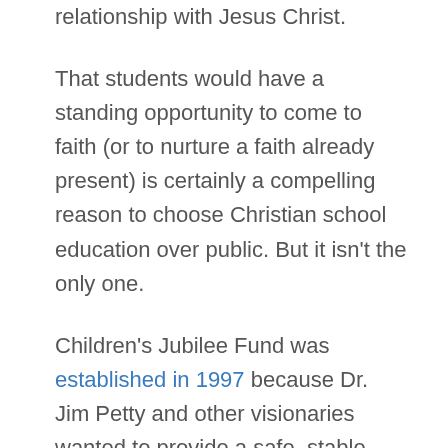relationship with Jesus Christ.
That students would have a standing opportunity to come to faith (or to nurture a faith already present) is certainly a compelling reason to choose Christian school education over public. But it isn't the only one.
Children's Jubilee Fund was established in 1997 because Dr. Jim Petty and other visionaries wanted to provide a safe, stable environment for city-based students to receive an education. Around the time of Jubilee's establishment, Philadelphia public schools suddenly faced new competition: charter schools. These publicly-funded, yet privately-run schools receive a share